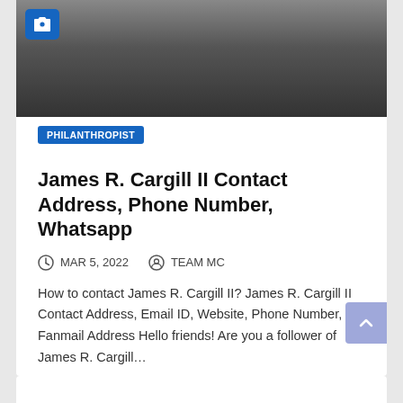[Figure (photo): Partial photo of an older man with a white beard wearing a dark jacket, shown from chin down. A blue camera icon badge is overlaid in the top-left corner.]
PHILANTHROPIST
James R. Cargill II Contact Address, Phone Number, Whatsapp
MAR 5, 2022   TEAM MC
How to contact James R. Cargill II? James R. Cargill II Contact Address, Email ID, Website, Phone Number, Fanmail Address Hello friends! Are you a follower of James R. Cargill…